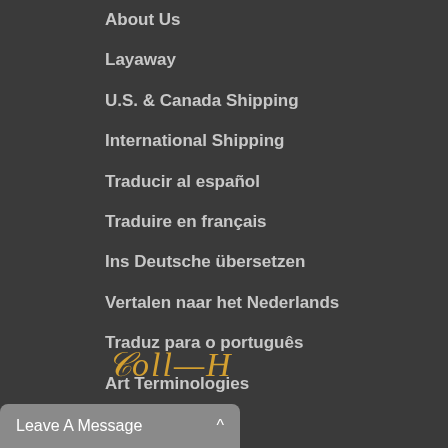About Us
Layaway
U.S. & Canada Shipping
International Shipping
Traducir al español
Traduire en français
Ins Deutsche übersetzen
Vertalen naar het Nederlands
Traduz para o português
Art Terminologies
297206415T
[Figure (illustration): Partial handwritten signature in orange/gold ink at the bottom of the page]
Leave A Message  ^